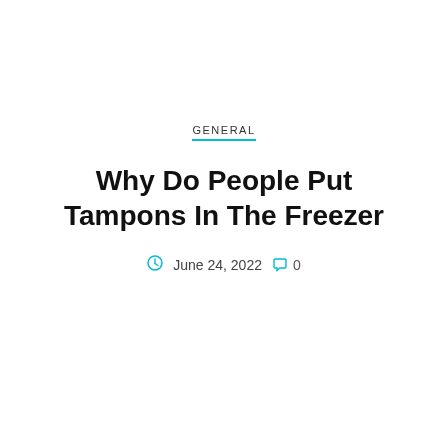GENERAL
Why Do People Put Tampons In The Freezer
June 24, 2022  0